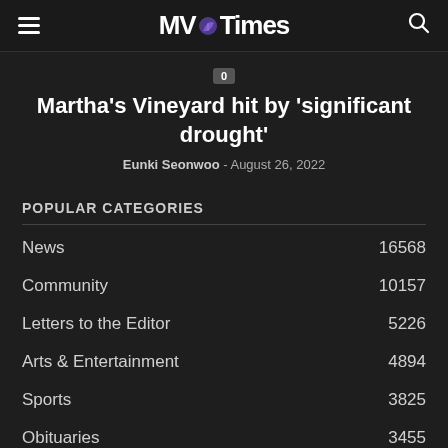MV Times
0
Martha's Vineyard hit by 'significant drought'
Eunki Seonwoo - August 26, 2022
POPULAR CATEGORIES
News 16568
Community 10157
Letters to the Editor 5226
Arts & Entertainment 4894
Sports 3825
Obituaries 3455